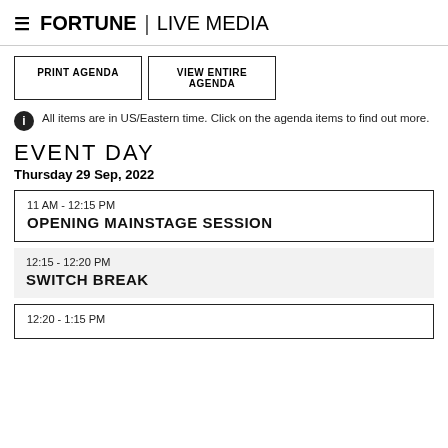FORTUNE | LIVE MEDIA
PRINT AGENDA | VIEW ENTIRE AGENDA
All items are in US/Eastern time. Click on the agenda items to find out more.
EVENT DAY
Thursday 29 Sep, 2022
11 AM - 12:15 PM
OPENING MAINSTAGE SESSION
12:15 - 12:20 PM
SWITCH BREAK
12:20 - 1:15 PM